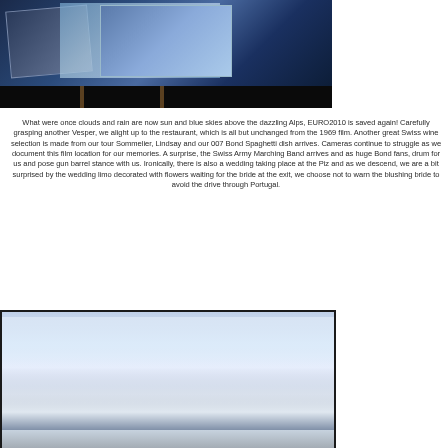[Figure (photo): Blue-toned photograph showing projected images or photos displayed on a surface, with dark staging area below and wooden elements visible at the bottom]
What were once clouds and rain are now sun and blue skies above the dazzling Alps, EURO2010 is saved again! Carefully grasping another Vesper, we alight up to the restaurant, which is all but unchanged from the 1969 film. Another great Swiss wine selection is made from our tour Sommelier, Lindsay and our 007 Bond Spaghetti dish arrives. Cameras continue to struggle as we document this film location for our memories. A surprise, the Swiss Army Marching Band arrives and as huge Bond fans, drum for us and pose gun barrel stance with us. Ironically, there is also a wedding taking place at the Piz and as we descend, we are a bit surprised by the wedding limo decorated with flowers waiting for the bride at the exit, we choose not to warn the blushing bride to avoid the drive through Portugal.
[Figure (photo): Aerial photograph of snow-capped Alpine mountain peaks with dramatic clouds and blue sky above]